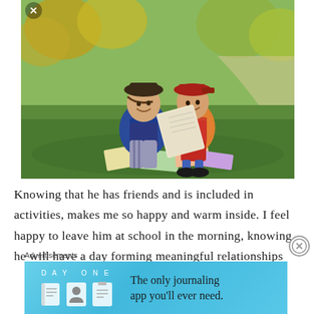[Figure (photo): Two young boys wearing hats (one dark fedora, one red cap) sitting on grass in a park, reading a book together. Books are scattered around them. Autumn trees in background.]
Knowing that he has friends and is included in activities, makes me so happy and warm inside. I feel happy to leave him at school in the morning, knowing he will have a day forming meaningful relationships
Advertisements
[Figure (screenshot): Advertisement banner for Day One journaling app. Shows 'DAY ONE' text with app icons and the tagline 'The only journaling app you'll ever need.' on a light blue gradient background.]